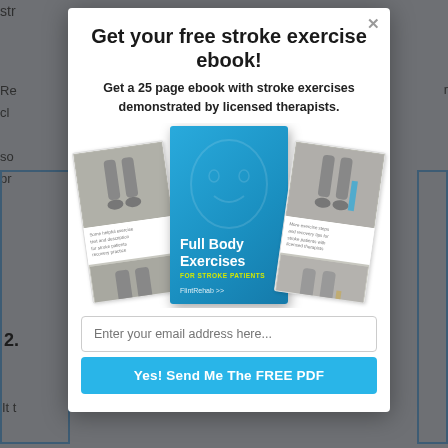Get your free stroke exercise ebook!
Get a 25 page ebook with stroke exercises demonstrated by licensed therapists.
[Figure (illustration): Three ebook covers for 'Full Body Exercises For Stroke Patients' by FlintRehab, fanned out — the center cover is blue with a smiling face outline and bold white and yellow text, flanked by two white-background booklets showing exercise photos.]
Enter your email address here...
Yes! Send Me The FREE PDF